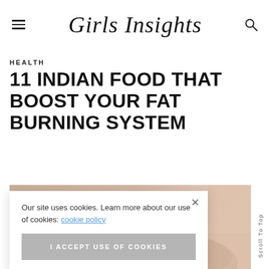Girls Insights
HEALTH
11 INDIAN FOOD THAT BOOST YOUR FAT BURNING SYSTEM
[Figure (photo): Photo of Indian food / spices partially visible at bottom of page]
Our site uses cookies. Learn more about our use of cookies: cookie policy
I ACCEPT USE OF COOKIES